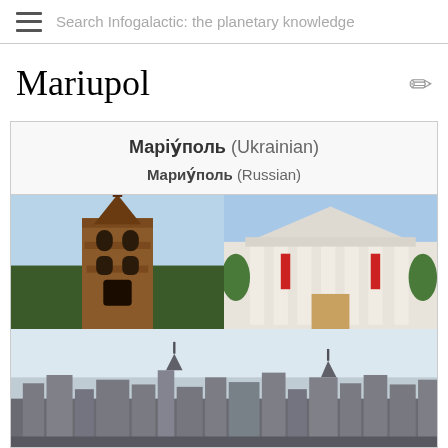Search Infogalactic: the planetary knowledge
Mariupol
Маріу́поль (Ukrainian)
Мариу́поль (Russian)
[Figure (photo): Three photos of Mariupol: a brick water tower (top left), a neoclassical theater building with columns (top right), and a city skyline panorama (bottom spanning full width).]